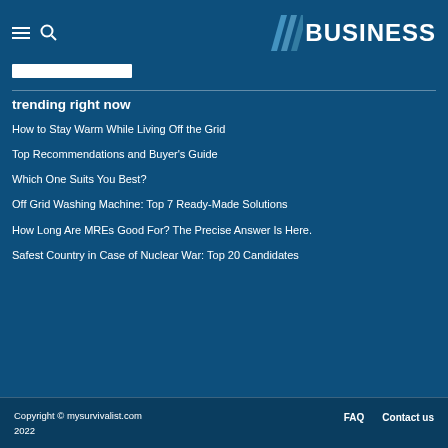BUSINESS
[Figure (logo): BUSINESS logo with diagonal stripe graphic on dark blue background]
trending right now
How to Stay Warm While Living Off the Grid
Top Recommendations and Buyer's Guide
Which One Suits You Best?
Off Grid Washing Machine: Top 7 Ready-Made Solutions
How Long Are MREs Good For? The Precise Answer Is Here.
Safest Country in Case of Nuclear War: Top 20 Candidates
Copyright © mysurvivalist.com 2022   FAQ   Contact us